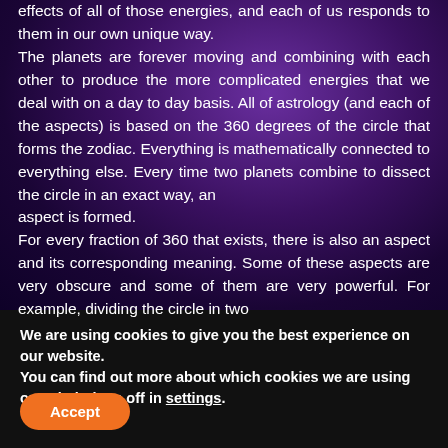effects of all of those energies, and each of us responds to them in our own unique way. The planets are forever moving and combining with each other to produce the more complicated energies that we deal with on a day to day basis. All of astrology (and each of the aspects) is based on the 360 degrees of the circle that forms the zodiac. Everything is mathematically connected to everything else. Every time two planets combine to dissect the circle in an exact way, an aspect is formed. For every fraction of 360 that exists, there is also an aspect and its corresponding meaning. Some of these aspects are very obscure and some of them are very powerful. For example, dividing the circle in two
We are using cookies to give you the best experience on our website.
You can find out more about which cookies we are using or switch them off in settings.
Accept